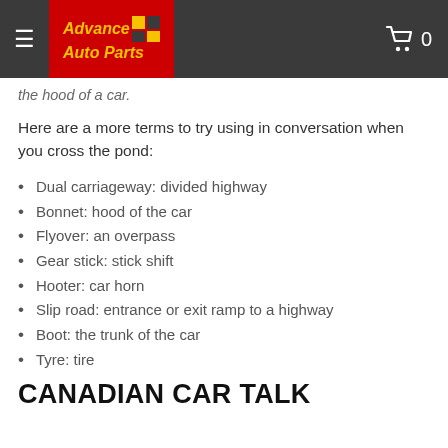Advance Auto Parts
the hood of a car.
Here are a more terms to try using in conversation when you cross the pond:
Dual carriageway: divided highway
Bonnet: hood of the car
Flyover: an overpass
Gear stick: stick shift
Hooter: car horn
Slip road: entrance or exit ramp to a highway
Boot: the trunk of the car
Tyre: tire
CANADIAN CAR TALK